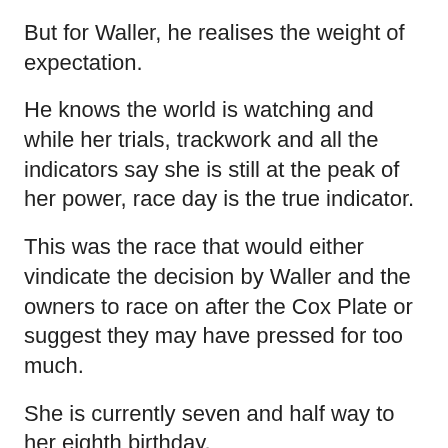But for Waller, he realises the weight of expectation.
He knows the world is watching and while her trials, trackwork and all the indicators say she is still at the peak of her power, race day is the true indicator.
This was the race that would either vindicate the decision by Waller and the owners to race on after the Cox Plate or suggest they may have pressed for too much.
She is currently seven and half way to her eighth birthday.
Everyone hopes the machine that is Winx will just keep churning out wins, but Waller knows there has to be an end at some point.
“It is just a sense of relief, we take it so personally,